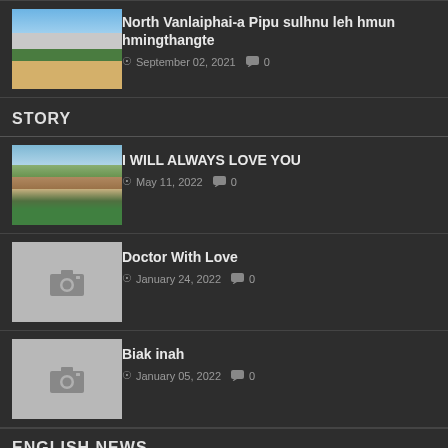[Figure (photo): Thumbnail photo of a building with green roof]
North Vanlaiphai-a Pipu sulhnu leh hmun hmingthangte
September 02, 2021  0
STORY
[Figure (photo): Thumbnail photo of a city hillside]
I WILL ALWAYS LOVE YOU
May 11, 2022  0
[Figure (photo): Placeholder photo thumbnail with camera icon]
Doctor With Love
January 24, 2022  0
[Figure (photo): Placeholder photo thumbnail with camera icon]
Biak inah
January 05, 2022  0
ENGLISH NEWS